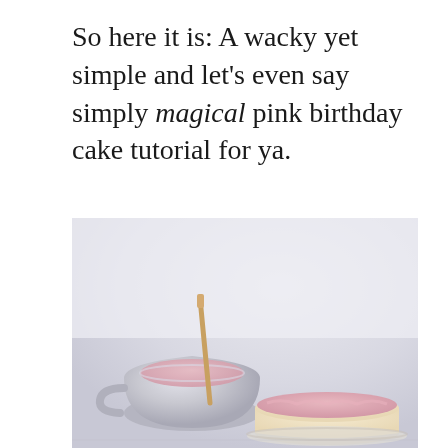So here it is: A wacky yet simple and let's even say simply magical pink birthday cake tutorial for ya.
[Figure (photo): A photo showing a silver mixing bowl with a gold stirring spoon containing pink frosting, next to a single-layer cake with pink frosting on top, set against a light grey/white background.]